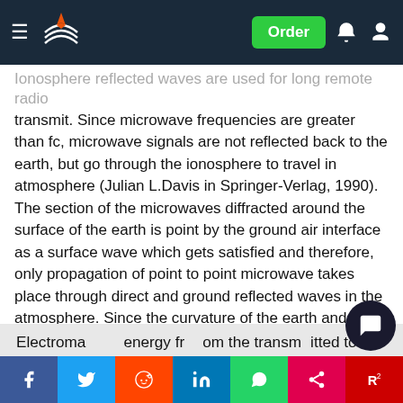Order
Ionosphere reflected waves are used for long remote radio transmit. Since microwave frequencies are greater than fc, microwave signals are not reflected back to the earth, but go through the ionosphere to travel in atmosphere (Julian L.Davis in Springer-Verlag, 1990). The section of the microwaves diffracted around the surface of the earth is point by the ground air interface as a surface wave which gets satisfied and therefore, only propagation of point to point microwave takes place through direct and ground reflected waves in the atmosphere. Since the curvature of the earth and the presence of the other barriers like buildings and trees, microwave signals are satisfied and the range of microwave direct transmission is limited to about 50 km between a transmitter and a receiver.
Electromagnetic energy from the transmitted to the receiver as... of the